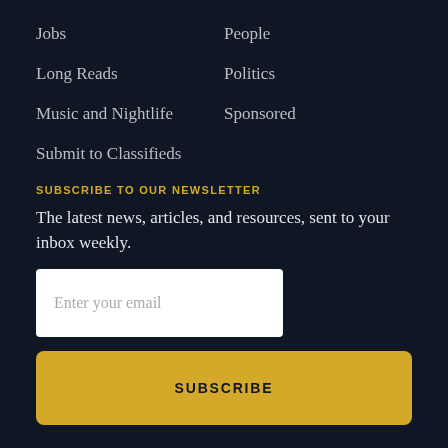Jobs
People
Long Reads
Politics
Music and Nightlife
Sponsored
Submit to Classifieds
SUBSCRIBE TO OUR NEWSLETTER
The latest news, articles, and resources, sent to your inbox weekly.
Enter your email
SUBSCRIBE